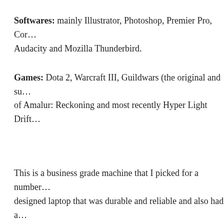Softwares: mainly Illustrator, Photoshop, Premier Pro, Cor… Audacity and Mozilla Thunderbird.
Games: Dota 2, Warcraft III, Guildwars (the original and su… of Amalur: Reckoning and most recently Hyper Light Drift….
This is a business grade machine that I picked for a number… designed laptop that was durable and reliable and also had a… narrow my choices because most laptops in production at th… 11″.
Previously, I had purchased an Asus multimedia laptop and… myself and the product.  I had picked the laptop based on pr… attention to design, build quality and long term use.  In term…